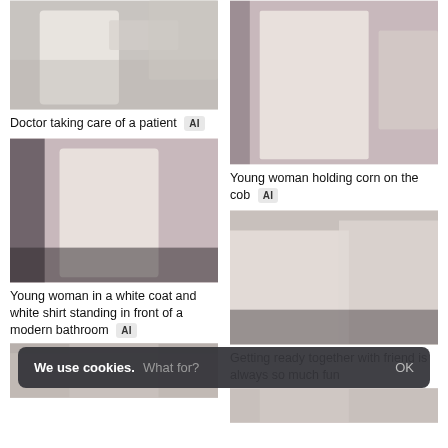[Figure (photo): Person in white robe/coat in bathroom setting]
Doctor taking care of a patient [AI]
[Figure (photo): Young woman in white robe holding corn on the cob]
Young woman holding corn on the cob [AI]
[Figure (photo): Young woman in white coat talking on phone in pink bathroom]
Young woman in a white coat and white shirt standing in front of a modern bathroom [AI]
[Figure (photo): Two women in white robes getting ready together - one using hair straightener, one holding hairbrush]
Getting ready together with friend is always so much fun
[Figure (photo): Partially visible image at bottom left]
[Figure (photo): Partially visible image at bottom right]
We use cookies. What for? OK